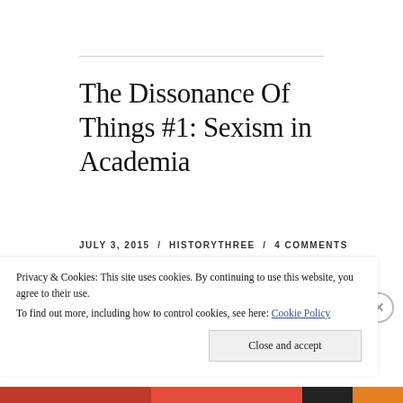The Dissonance Of Things #1: Sexism in Academia
JULY 3, 2015 / HISTORYTHREE / 4 COMMENTS
Privacy & Cookies: This site uses cookies. By continuing to use this website, you agree to their use.
To find out more, including how to control cookies, see here: Cookie Policy
Close and accept